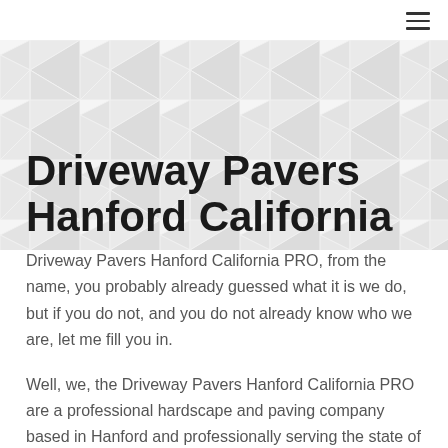≡
[Figure (illustration): Geometric diamond/triangle tile pattern background in light gray on white]
Driveway Pavers Hanford California
Driveway Pavers Hanford California PRO, from the name, you probably already guessed what it is we do, but if you do not, and you do not already know who we are, let me fill you in.
Well, we, the Driveway Pavers Hanford California PRO are a professional hardscape and paving company based in Hanford and professionally serving the state of California